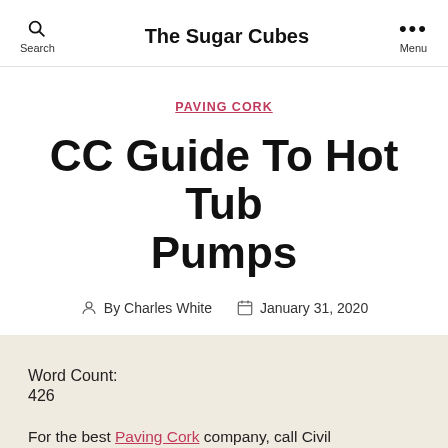Search | The Sugar Cubes | Menu
PAVING CORK
CC Guide To Hot Tub Pumps
By Charles White   January 31, 2020
Word Count:
426
For the best Paving Cork company, call Civil